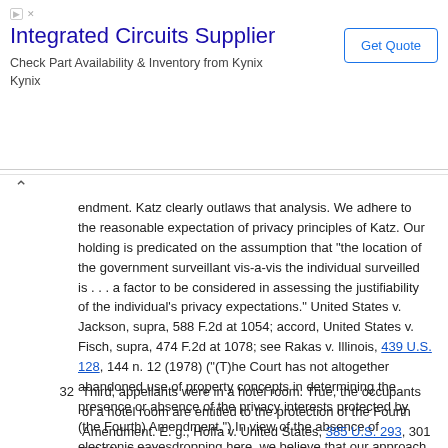[Figure (other): Advertisement banner for Integrated Circuits Supplier (Kynix). Title: 'Integrated Circuits Supplier', description: 'Check Part Availability & Inventory from Kynix Kynix', with a 'Get Quote' button.]
endment. Katz clearly outlaws that analysis. We adhere to the reasonable expectation of privacy principles of Katz. Our holding is predicated on the assumption that "the location of the government surveillant vis-a-vis the individual surveilled is . . . a factor to be considered in assessing the justifiability of the individual's privacy expectations." United States v. Jackson, supra, 588 F.2d at 1054; accord, United States v. Fisch, supra, 474 F.2d at 1078; see Rakas v. Illinois, 439 U.S. 128, 144 n. 12 (1978) ("(T)he Court has not altogether abandoned use of property concepts in determining the presence or absence of the privacy interests protected by (the Fourth) Amendment.") In view of the absence of electronic eavesdropping here, we believe that our approach is consistent with Katz.
32  Third, appellants were in a hotel room. True, the occupants of a hotel room are entitled to the protection of the Fourth Amendment. E. g., Hoffa v. United States, 385 U.S. 293, 301 (1966). But the